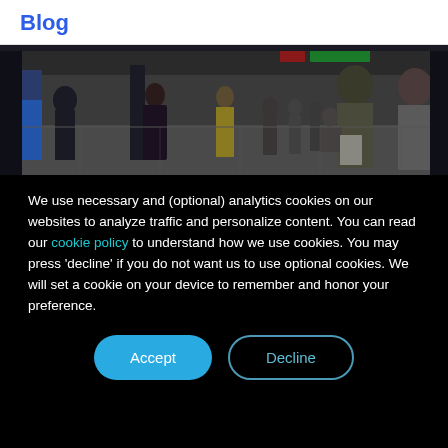Blog
[Figure (photo): Crowded subway platform with many people standing and walking, some looking at phones. A sign reading 'Fulton Street' is visible in the background. Dark, moody atmosphere with fluorescent lighting.]
We use necessary and (optional) analytics cookies on our websites to analyze traffic and personalize content. You can read our cookie policy to understand how we use cookies. You may press 'decline' if you do not want us to use optional cookies. We will set a cookie on your device to remember and honor your preference.
Accept
Decline